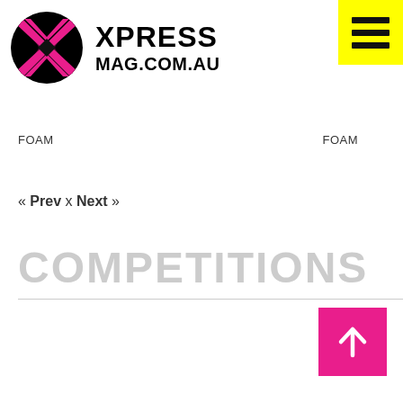[Figure (logo): Xpress Mag logo: black circle with pink X mark and text XPRESS MAG.COM.AU]
[Figure (other): Yellow hamburger menu button with three black horizontal bars]
FOAM
FOAM
« Prev x Next »
COMPETITIONS
[Figure (other): Pink back-to-top button with white upward arrow]